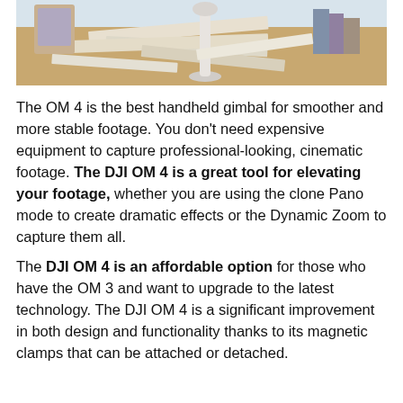[Figure (photo): Photo of a DJI OM 4 gimbal on a wooden desk with papers/books in background, warm indoor lighting]
The OM 4 is the best handheld gimbal for smoother and more stable footage. You don't need expensive equipment to capture professional-looking, cinematic footage. The DJI OM 4 is a great tool for elevating your footage, whether you are using the clone Pano mode to create dramatic effects or the Dynamic Zoom to capture them all.
The DJI OM 4 is an affordable option for those who have the OM 3 and want to upgrade to the latest technology. The DJI OM 4 is a significant improvement in both design and functionality thanks to its magnetic clamps that can be attached or detached.